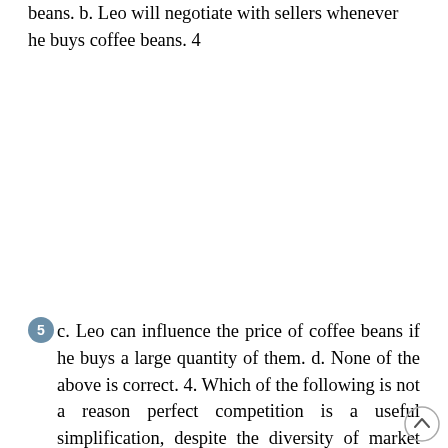beans. b. Leo will negotiate with sellers whenever he buys coffee beans. 4
5 c. Leo can influence the price of coffee beans if he buys a large quantity of them. d. None of the above is correct. 4. Which of the following is not a reason perfect competition is a useful simplification, despite the diversity of market types we find in the world? a. Perfectly competitive markets are the easiest to analyze because everyone